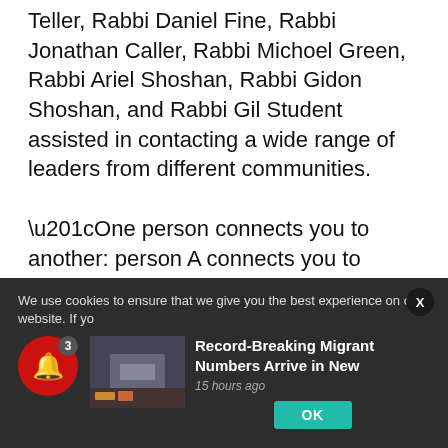Teller, Rabbi Daniel Fine, Rabbi Jonathan Caller, Rabbi Michoel Green, Rabbi Ariel Shoshan, Rabbi Gidon Shoshan, and Rabbi Gil Student assisted in contacting a wide range of leaders from different communities.
“One person connects you to another: person A connects you to person B, who knows person C, who’s cousins with person D, etc.,” said Rav Taragin.
We use cookies to ensure that we give you the best experience on our website. If yo...
[Figure (photo): Thumbnail image of a building, associated with news article about Record-Breaking Migrant Numbers Arriving in New York]
Record-Breaking Migrant Numbers Arrive in New
15 hours ago